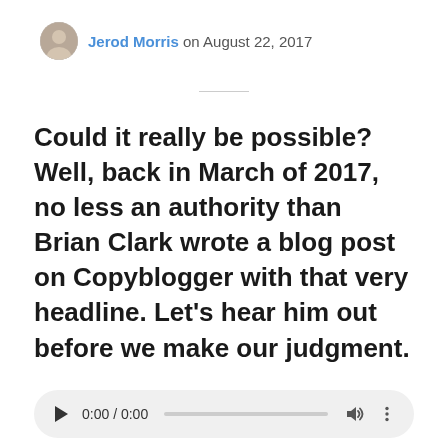Jerod Morris on August 22, 2017
Could it really be possible? Well, back in March of 2017, no less an authority than Brian Clark wrote a blog post on Copyblogger with that very headline. Let's hear him out before we make our judgment.
[Figure (other): Audio player widget showing 0:00 / 0:00 with play button, progress bar, volume icon, and more options icon]